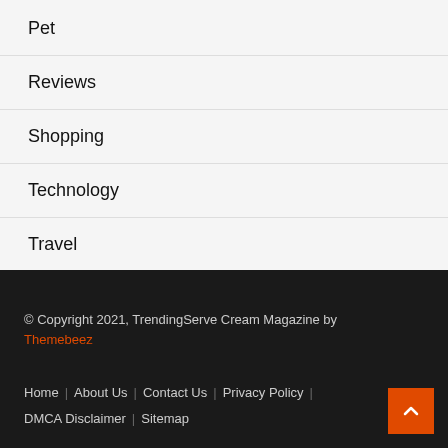Pet
Reviews
Shopping
Technology
Travel
© Copyright 2021, TrendingServe Cream Magazine by Themebeez  |  Home  |  About Us  |  Contact Us  |  Privacy Policy  |  DMCA Disclaimer  |  Sitemap